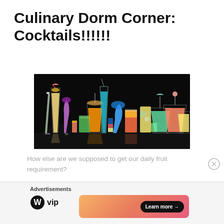Culinary Dorm Corner: Cocktails!!!!!!
[Figure (photo): A collection of colorful cocktails arranged against a black background, including martinis, tall drinks, champagne flutes, and various garnished cocktails in many colors including blue, purple, green, orange, and yellow.]
How else are we supposed to get our daily fruit requirement?
Advertisements
[Figure (logo): WordPress VIP logo — circular W logo followed by 'vip' text in bold]
[Figure (infographic): Advertisement banner with orange-pink gradient background and 'Learn more →' button in black pill shape]